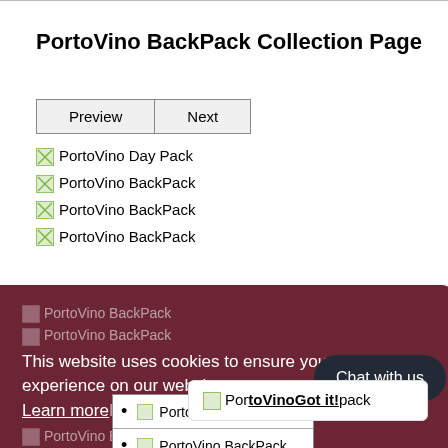PortoVino BackPack Collection Page
Preview | Next (buttons)
PortoVino Day Pack
PortoVino BackPack
PortoVino BackPack
PortoVino BackPack
PortoVino BackPack
PortoVino BackPack
PortoVino Back Pack
PortoVino BackPack
PortoVino BackPack
This website uses cookies to ensure you get the best experience on our website. Learn more
Got it!
Chat with us
PortoVino BackPack
PortoVino BackPack